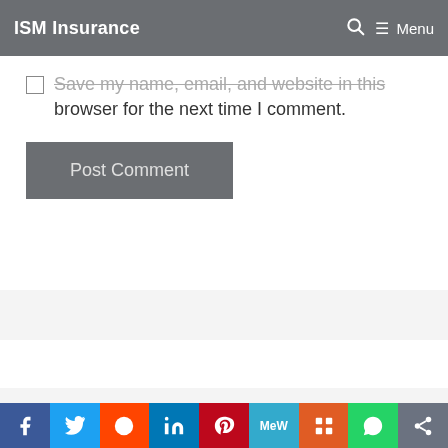ISM Insurance  🔍  ≡ Menu
Save my name, email, and website in this browser for the next time I comment.
Post Comment
[Figure (other): Social share bar with icons: Facebook, Twitter, Reddit, LinkedIn, Pinterest, MeWe, Mix, WhatsApp, More]